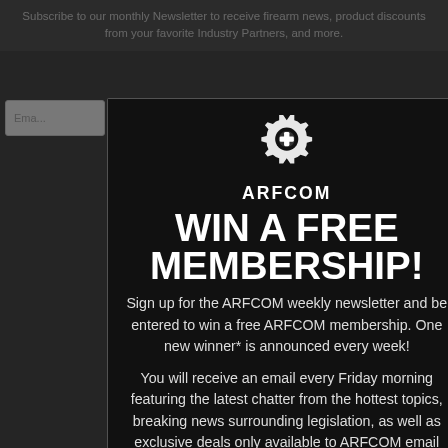Subscribe to our monthly Newsletter to receive firearm news, product discounts from your favorite Industry Partners, and more.
[Figure (screenshot): ARFCOM modal popup with gear logo, 'WIN A FREE MEMBERSHIP!' headline, newsletter signup text, and email input bar at bottom. Dark background with white text.]
WIN A FREE MEMBERSHIP!
Sign up for the ARFCOM weekly newsletter and be entered to win a free ARFCOM membership. One new winner* is announced every week!
You will receive an email every Friday morning featuring the latest chatter from the hottest topics, breaking news surrounding legislation, as well as exclusive deals only available to ARFCOM email subscribers.